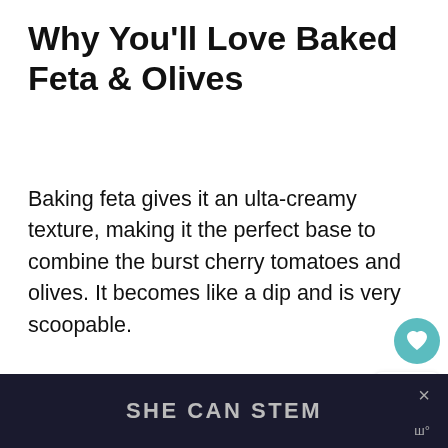Why You'll Love Baked Feta & Olives
Baking feta gives it an ulta-creamy texture, making it the perfect base to combine the burst cherry tomatoes and olives. It becomes like a dip and is very scoopable.
Using a variety of olives will adds an interesting flavor profile and topping this dish with fresh herbs brightens it up for an exciting combination.
[Figure (infographic): UI overlay showing a teal heart/save button, a share count of 133, a share icon button, and a 'What's Next' card with a food thumbnail and '16 Delicious Recipes wit...' text]
SHE CAN STEM